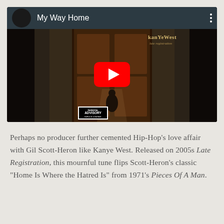[Figure (screenshot): YouTube video embed showing Kanye West 'My Way Home' from Late Registration album. Dark background with album cover art visible, YouTube play button in center, video title bar at top.]
Perhaps no producer further cemented Hip-Hop's love affair with Gil Scott-Heron like Kanye West. Released on 2005s Late Registration, this mournful tune flips Scott-Heron's classic "Home Is Where the Hatred Is" from 1971's Pieces Of A Man.